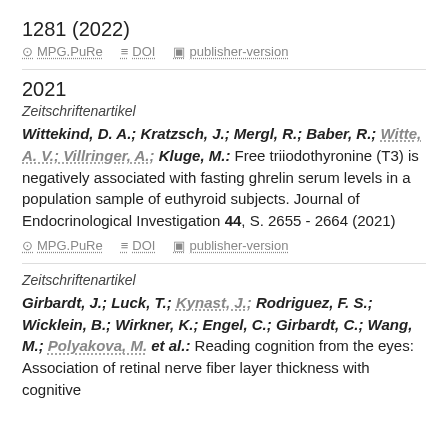1281 (2022)
MPG.PuRe   DOI   publisher-version
2021
Zeitschriftenartikel
Wittekind, D. A.; Kratzsch, J.; Mergl, R.; Baber, R.; Witte, A. V.; Villringer, A.; Kluge, M.: Free triiodothyronine (T3) is negatively associated with fasting ghrelin serum levels in a population sample of euthyroid subjects. Journal of Endocrinological Investigation 44, S. 2655 - 2664 (2021)
MPG.PuRe   DOI   publisher-version
Zeitschriftenartikel
Girbardt, J.; Luck, T.; Kynast, J.; Rodriguez, F. S.; Wicklein, B.; Wirkner, K.; Engel, C.; Girbardt, C.; Wang, M.; Polyakova, M. et al.: Reading cognition from the eyes: Association of retinal nerve fiber layer thickness with cognitive